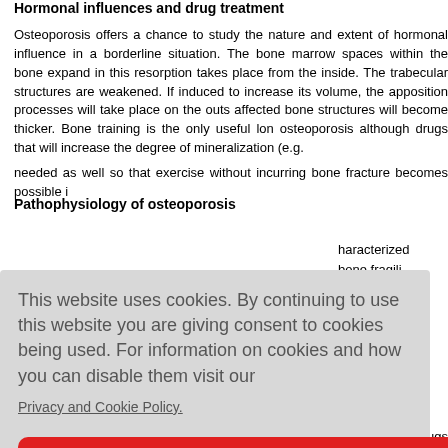Hormonal influences and drug treatment
Osteoporosis offers a chance to study the nature and extent of hormonal influence in a borderline situation. The bone marrow spaces within the bone expand in this resorption takes place from the inside. The trabecular structures are weakened. If induced to increase its volume, the apposition processes will take place on the outside affected bone structures will become thicker. Bone training is the only useful long-term osteoporosis although drugs that will increase the degree of mineralization (e.g. needed as well so that exercise without incurring bone fracture becomes possible in
Pathophysiology of osteoporosis
haracterized bone fragility osteoporosis enopausal ( of age affected and generally
[Figure (screenshot): Cookie consent overlay with text: 'This website uses cookies. By continuing to use this website you are giving consent to cookies being used. For information on cookies and how you can disable them visit our Privacy and Cookie Policy.' and an AGREE & PROCEED button.]
ed that will s d. By the sa ed. In other develops when the equilibrium can be influenced by drug treatment. Drugs su